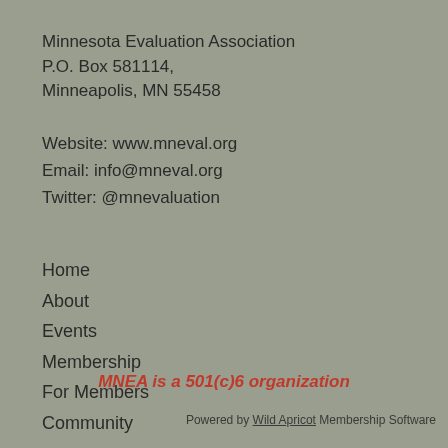Minnesota Evaluation Association
P.O. Box 581114,
Minneapolis, MN 55458
Website: www.mneval.org
Email: info@mneval.org
Twitter: @mnevaluation
Home
About
Events
Membership
For Members
Community
MNEA is a 501(c)6 organization
Powered by Wild Apricot Membership Software